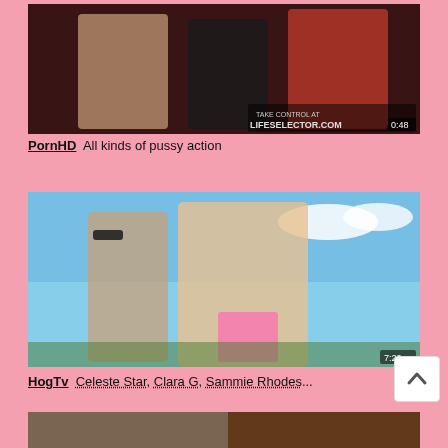[Figure (photo): Video thumbnail showing performers in a dark red room setting, with LifeSelector.com watermark]
PornHD  All kinds of pussy action
[Figure (photo): Video thumbnail showing performers outdoors with blue sky background, timestamp 7:22]
HogTv  Celeste Star, Clara G, Sammie Rhodes...
[Figure (photo): Partial video thumbnail at bottom of page]